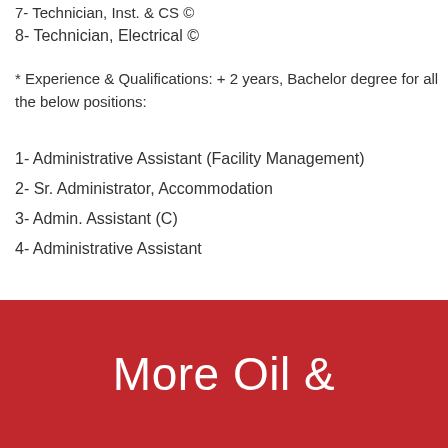7- Technician, Inst. & CS ©
8- Technician, Electrical ©
* Experience & Qualifications: + 2 years, Bachelor degree for all the below positions:
1- Administrative Assistant (Facility Management)
2- Sr. Administrator, Accommodation
3- Admin. Assistant (C)
4- Administrative Assistant
[Figure (other): Red banner with large white text reading 'More Oil &']